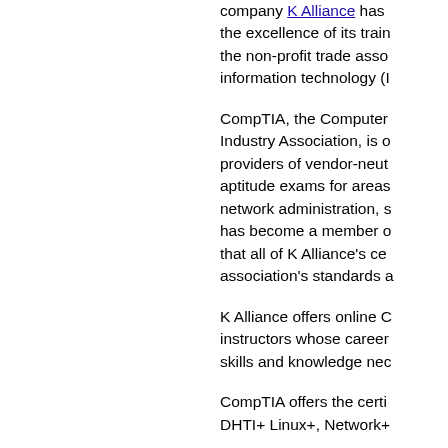company K Alliance has the excellence of its train the non-profit trade asso information technology (I
CompTIA, the Computer Industry Association, is o providers of vendor-neut aptitude exams for areas network administration, s has become a member o that all of K Alliance's ce association's standards a
K Alliance offers online C instructors whose career skills and knowledge nec
CompTIA offers the certi DHTI+ Linux+, Network+